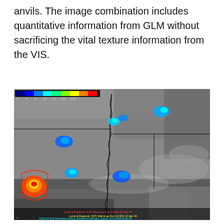anvils. The image combination includes quantitative information from GLM without sacrificing the vital texture information from the VIS.
[Figure (photo): Satellite image composite showing GLM (Geostationary Lightning Mapper) flash extent density overlaid on VIS (visible) satellite imagery of the south-central United States. Colored regions (blue, cyan, green, yellow, orange, red) indicate lightning activity intensity per a color scale bar at the top (ranging from 2 to 120+). The image is labeled GOES-16 with local/regional SVS warnings timestamps for Sun 14:00Z 12-Apr-20.]